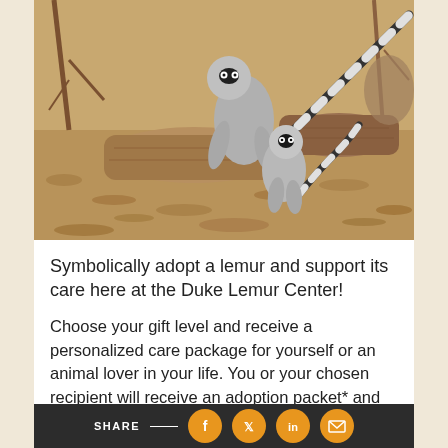[Figure (photo): Two ring-tailed lemurs in an outdoor enclosure with trees, logs, and leaf-covered ground. One lemur faces away showing its striped tail, and a smaller lemur is visible in the foreground.]
Symbolically adopt a lemur and support its care here at the Duke Lemur Center!
Choose your gift level and receive a personalized care package for yourself or an animal lover in your life. You or your chosen recipient will receive an adoption packet* and quarterly email updates for a year on a specific lemur here at the Duke Lemur Center.
SHARE — [Facebook] [Twitter] [LinkedIn] [Email]